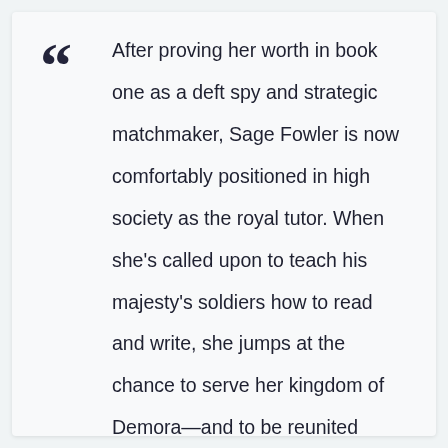After proving her worth in book one as a deft spy and strategic matchmaker, Sage Fowler is now comfortably positioned in high society as the royal tutor. When she's called upon to teach his majesty's soldiers how to read and write, she jumps at the chance to serve her kingdom of Demora—and to be reunited with her fiancé, Captain Alex Quinn.